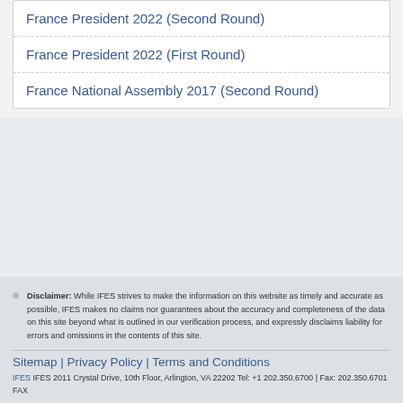France President 2022 (Second Round)
France President 2022 (First Round)
France National Assembly 2017 (Second Round)
Disclaimer: While IFES strives to make the information on this website as timely and accurate as possible, IFES makes no claims nor guarantees about the accuracy and completeness of the data on this site beyond what is outlined in our verification process, and expressly disclaims liability for errors and omissions in the contents of this site.
Sitemap | Privacy Policy | Terms and Conditions
IFES IFES 2011 Crystal Drive, 10th Floor, Arlington, VA 22202 Tel: +1 202.350.6700 | Fax: 202.350.6701 FAX